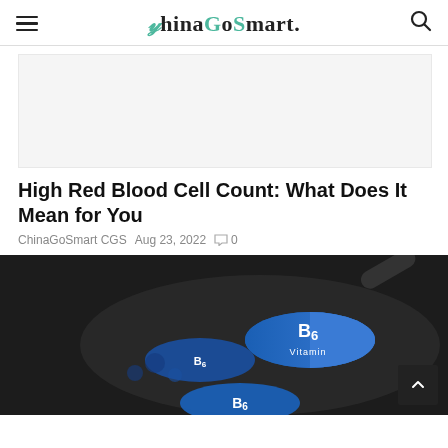ChinaGoSmart.
[Figure (other): Advertisement banner placeholder — light gray rectangle]
High Red Blood Cell Count: What Does It Mean for You
ChinaGoSmart CGS  Aug 23, 2022  💬 0
[Figure (photo): Photo of blue and white Vitamin B6 capsule pills on a black spoon, close-up view]